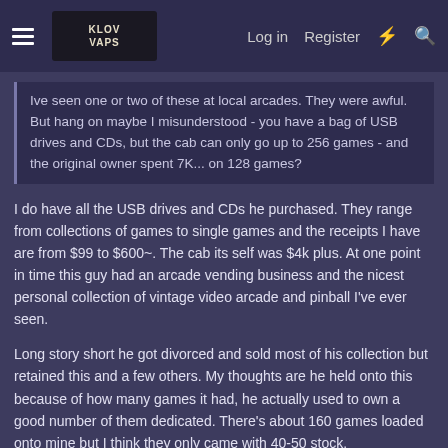KLOV/VAPS Coin-op Videogame, Pinball, Slot Machine, and EM Machine Forums — Log in | Register
Ive seen one or two of these at local arcades. They were awful. But hang on maybe I misunderstood - you have a bag of USB drives and CDs, but the cab can only go up to 256 games - and the original owner spent 7K... on 128 games?
I do have all the USB drives and CDs he purchased. They range from collections of games to single games and the receipts I have are from $99 to $600~. The cab its self was $4k plus. At one point in time this guy had an arcade vending business and the nicest personal collection of vintage video arcade and pinball I've ever seen.
Long story short he got divorced and sold most of his collection but retained this and a few others. My thoughts are he held onto this because of how many games it had, he actually used to own a good number of them dedicated. There's about 160 games loaded onto mine but I think they only came with 40-50 stock.
I'd like to find somewhere online that has the images of the games I'm missing but there's no way I'd buy them off eBay. Again this thing